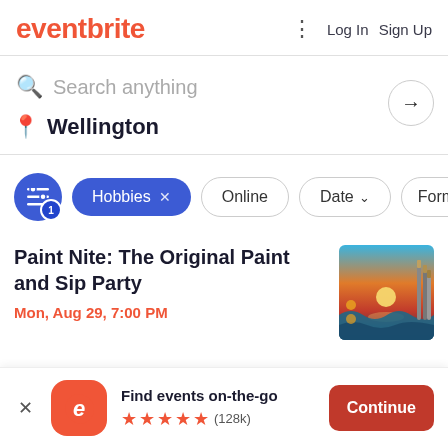eventbrite   Log In  Sign Up
Search anything
Wellington
Hobbies x   Online   Date   Forma
Paint Nite: The Original Paint and Sip Party
Mon, Aug 29, 7:00 PM
[Figure (illustration): Sunset painting with ocean waves, paintbrushes on side]
Find events on-the-go  ★★★★★ (128k)  Continue